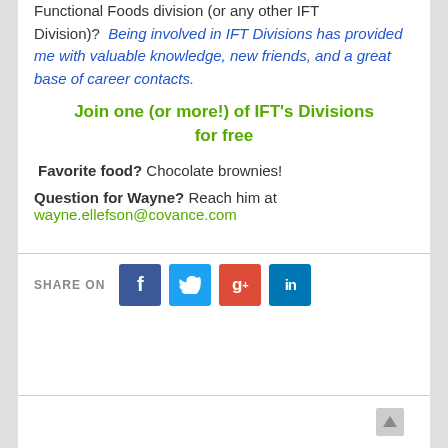Functional Foods division (or any other IFT Division)?  Being involved in IFT Divisions has provided me with valuable knowledge, new friends, and a great base of career contacts.
Join one (or more!) of IFT's Divisions for free
Favorite food? Chocolate brownies!
Question for Wayne? Reach him at wayne.ellefson@covance.com